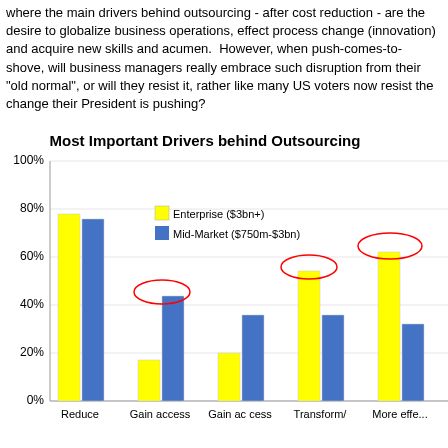where the main drivers behind outsourcing - after cost reduction - are the desire to globalize business operations, effect process change (innovation) and acquire new skills and acumen. However, when push-comes-to-shove, will business managers really embrace such disruption from their "old normal", or will they resist it, rather like many US voters now resist the change their President is pushing?
[Figure (grouped-bar-chart): Most Important Drivers behind Outsourcing]